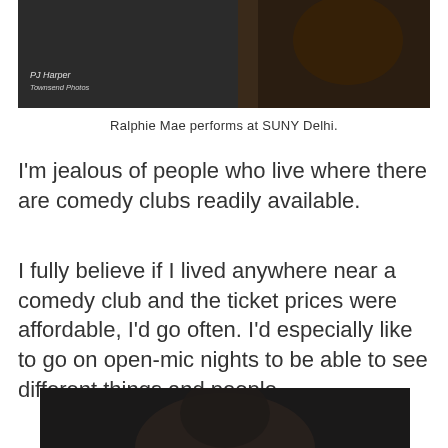[Figure (photo): Ralphie Mae performing on stage, top portion showing dark background with tiger graphic on jacket]
Ralphie Mae performs at SUNY Delhi.
I'm jealous of people who live where there are comedy clubs readily available.
I fully believe if I lived anywhere near a comedy club and the ticket prices were affordable, I'd go often. I'd especially like to go on open-mic nights to be able to see different things and people.
[Figure (photo): Ralphie Mae performing on stage, pointing, wearing a black cap and brown jacket, dark curtain background]